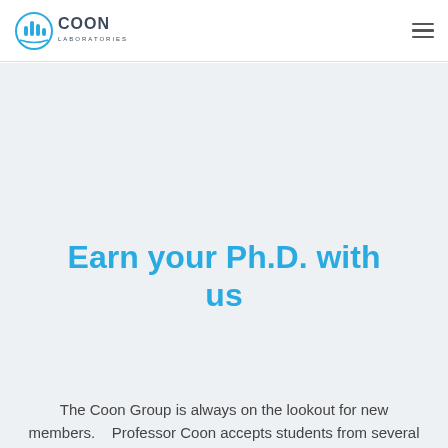[Figure (logo): Coon Laboratories logo: circular blue icon with stylized building/test tubes and 'COON LABORATORIES' text in dark gray]
Earn your Ph.D. with us
The Coon Group is always on the lookout for new members.    Professor Coon accepts students from several UW